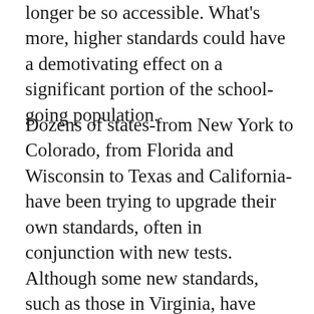longer be so accessible. What's more, higher standards could have a demotivating effect on a significant portion of the school-going population.
Dozens of states-from New York to Colorado, from Florida and Wisconsin to Texas and California-have been trying to upgrade their own standards, often in conjunction with new tests. Although some new standards, such as those in Virginia, have been widely praised, there is no way to know how well they will ultimately be accepted, nor how much difference they will make. And while the larger menu of serious academic courses gradually imposed in many states in the 1980s has almost certainly had an effect in raising academic achievement, those reforms were mild compared